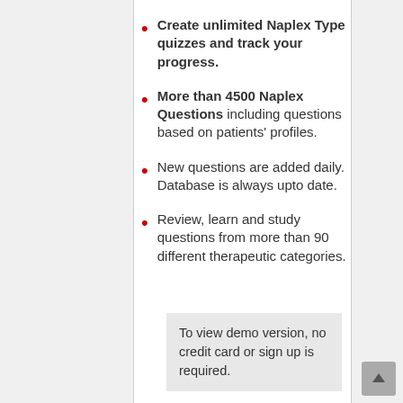Create unlimited Naplex Type quizzes and track your progress.
More than 4500 Naplex Questions including questions based on patients' profiles.
New questions are added daily. Database is always upto date.
Review, learn and study questions from more than 90 different therapeutic categories.
To view demo version, no credit card or sign up is required.